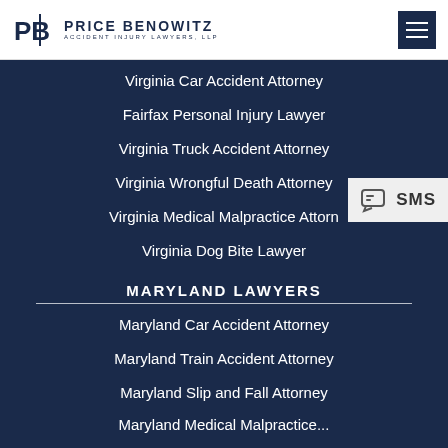[Figure (logo): Price Benowitz Accident Injury Lawyers LLP logo with PB monogram]
Virginia Car Accident Attorney
Fairfax Personal Injury Lawyer
Virginia Truck Accident Attorney
Virginia Wrongful Death Attorney
Virginia Medical Malpractice Attorney
Virginia Dog Bite Lawyer
MARYLAND LAWYERS
Maryland Car Accident Attorney
Maryland Train Accident Attorney
Maryland Slip and Fall Attorney
Maryland Medical Malpractice...